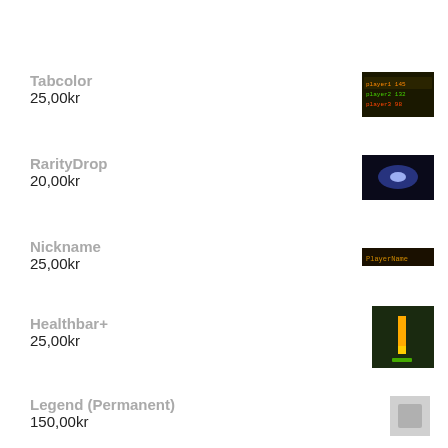Tabcolor
25,00kr
RarityDrop
20,00kr
Nickname
25,00kr
Healthbar+
25,00kr
Legend (Permanent)
150,00kr
[Figure (screenshot): Dark banner image with game screenshot]
LANGUAGE